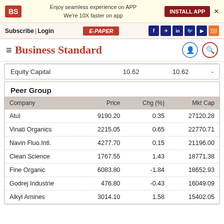[Figure (screenshot): Business Standard app banner with BS logo, 'Enjoy seamless experience on APP / We're 10X faster on app', INSTALL APP button, and X close button]
Subscribe| Login   E-PAPER   [social icons: f, telegram, in, twitter, youtube, rss]
≡ Business Standard
|  |  |  |  |
| --- | --- | --- | --- |
| Equity Capital | 10.62 | 10.62 | - |
Peer Group
| Company | Price | Chg (%) | Mkt Cap |
| --- | --- | --- | --- |
| Atul | 9190.20 | 0.35 | 27120.28 |
| Vinati Organics | 2215.05 | 0.65 | 22770.71 |
| Navin Fluo.Intl. | 4277.70 | 0.15 | 21196.00 |
| Clean Science | 1767.55 | 1.43 | 18771.38 |
| Fine Organic | 6083.80 | -1.84 | 18652.93 |
| Godrej Industrie | 476.80 | -0.43 | 16049.09 |
| Alkyl Amines | 3014.10 | 1.58 | 15402.05 |